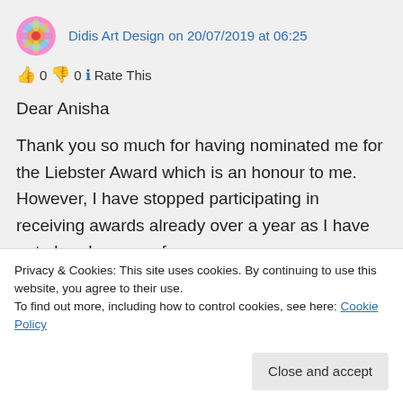Didis Art Design on 20/07/2019 at 06:25
👍 0 👎 0 ℹ Rate This
Dear Anisha
Thank you so much for having nominated me for the Liebster Award which is an honour to me. However, I have stopped participating in receiving awards already over a year as I have got already many of
Privacy & Cookies: This site uses cookies. By continuing to use this website, you agree to their use.
To find out more, including how to control cookies, see here: Cookie Policy
Close and accept